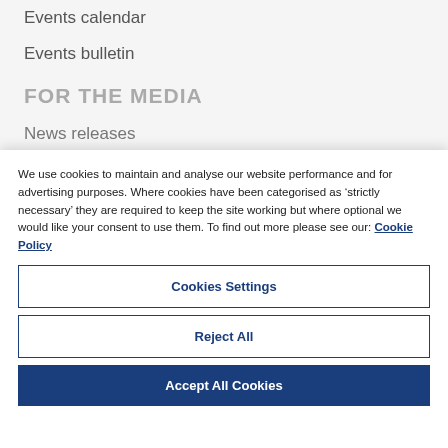Events calendar
Events bulletin
FOR THE MEDIA
News releases
We use cookies to maintain and analyse our website performance and for advertising purposes. Where cookies have been categorised as ‘strictly necessary’ they are required to keep the site working but where optional we would like your consent to use them. To find out more please see our: Cookie Policy
Cookies Settings
Reject All
Accept All Cookies